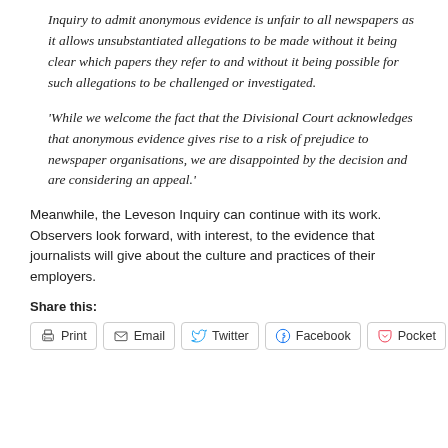Inquiry to admit anonymous evidence is unfair to all newspapers as it allows unsubstantiated allegations to be made without it being clear which papers they refer to and without it being possible for such allegations to be challenged or investigated.
'While we welcome the fact that the Divisional Court acknowledges that anonymous evidence gives rise to a risk of prejudice to newspaper organisations, we are disappointed by the decision and are considering an appeal.'
Meanwhile, the Leveson Inquiry can continue with its work.  Observers look forward, with interest, to the evidence that journalists will give about the culture and practices of their employers.
Share this:
Print | Email | Twitter | Facebook | Pocket